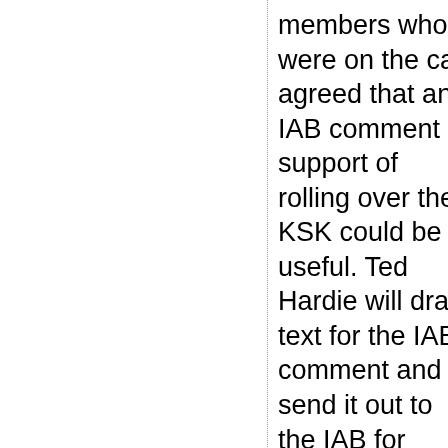members who were on the call agreed that an IAB comment in support of rolling over the KSK could be useful. Ted Hardie will draft text for the IAB's comment and send it out to the IAB for review.
7.